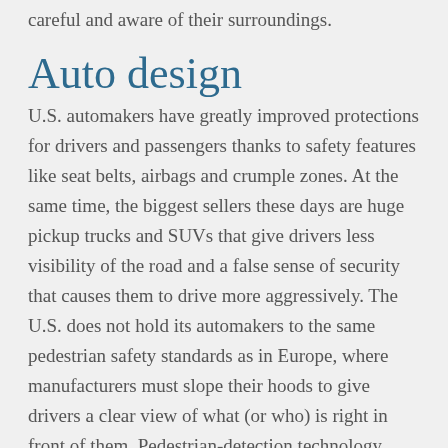careful and aware of their surroundings.
Auto design
U.S. automakers have greatly improved protections for drivers and passengers thanks to safety features like seat belts, airbags and crumple zones. At the same time, the biggest sellers these days are huge pickup trucks and SUVs that give drivers less visibility of the road and a false sense of security that causes them to drive more aggressively. The U.S. does not hold its automakers to the same pedestrian safety standards as in Europe, where manufacturers must slope their hoods to give drivers a clear view of what (or who) is right in front of them. Pedestrian-detection technology similar to the systems that detect